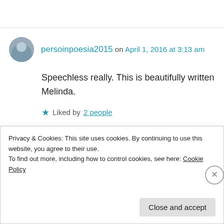persoinpoesia2015 on April 1, 2016 at 3:13 am
Speechless really. This is beautifully written Melinda.
Liked by 2 people
Melinda Kucsera on April 1, 2016 at 9:13 am
Privacy & Cookies: This site uses cookies. By continuing to use this website, you agree to their use. To find out more, including how to control cookies, see here: Cookie Policy